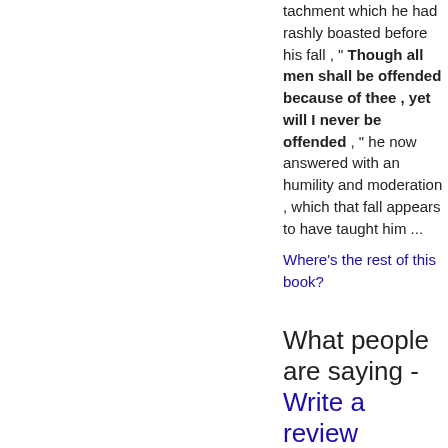tachment which he had rashly boasted before his fall , " Though all men shall be offended because of thee , yet will I never be offended , " he now answered with an humility and moderation , which that fall appears to have taught him ...
Where's the rest of this book?
What people are saying - Write a review
We haven't found any reviews in the usual places.